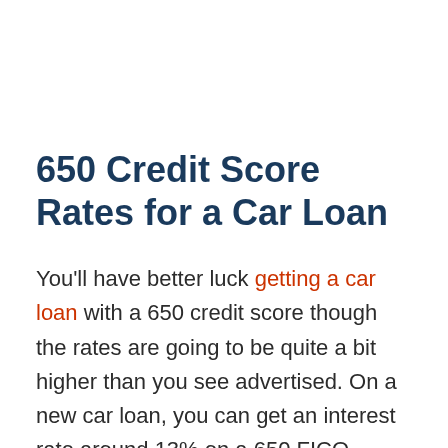650 Credit Score Rates for a Car Loan
You'll have better luck getting a car loan with a 650 credit score though the rates are going to be quite a bit higher than you see advertised. On a new car loan, you can get an interest rate around 13% on a 650 FICO. Used car rates are a little higher, upwards of 18% for that level of credit.